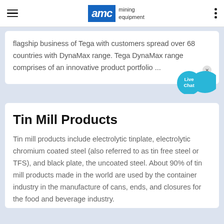AMC mining equipment
flagship business of Tega with customers spread over 68 countries with DynaMax range. Tega DynaMax range comprises of an innovative product portfolio ...
Tin Mill Products
Tin mill products include electrolytic tinplate, electrolytic chromium coated steel (also referred to as tin free steel or TFS), and black plate, the uncoated steel. About 90% of tin mill products made in the world are used by the container industry in the manufacture of cans, ends, and closures for the food and beverage industry.